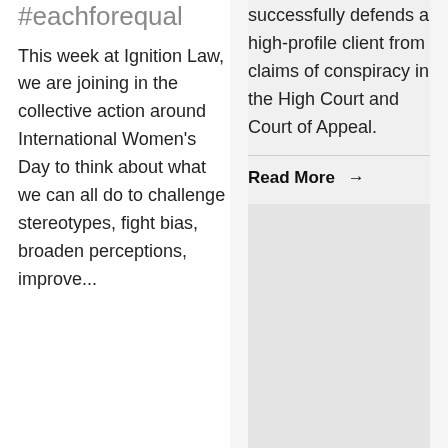#eachforequal
This week at Ignition Law, we are joining in the collective action around International Women's Day to think about what we can all do to challenge stereotypes, fight bias, broaden perceptions, improve...
successfully defends a high-profile client from claims of conspiracy in the High Court and Court of Appeal.
Read More →